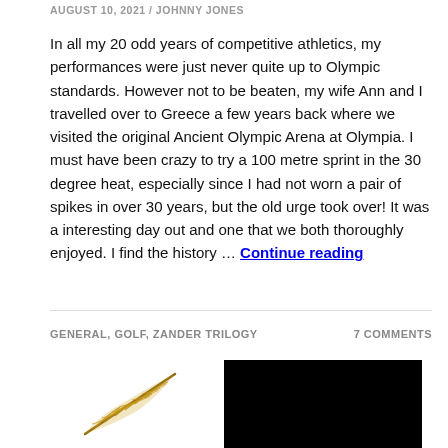AUGUST 10, 2021 / JOHNNY JONES
In all my 20 odd years of competitive athletics, my performances were just never quite up to Olympic standards. However not to be beaten, my wife Ann and I travelled over to Greece a few years back where we visited the original Ancient Olympic Arena at Olympia. I must have been crazy to try a 100 metre sprint in the 30 degree heat, especially since I had not worn a pair of spikes in over 30 years, but the old urge took over! It was a interesting day out and one that we both thoroughly enjoyed. I find the history … Continue reading
GENERAL, GOLF, ZANDER TRILOGY
7 COMMENTS
[Figure (illustration): A golden/bronze feather illustration]
[Figure (photo): A black rectangular image]